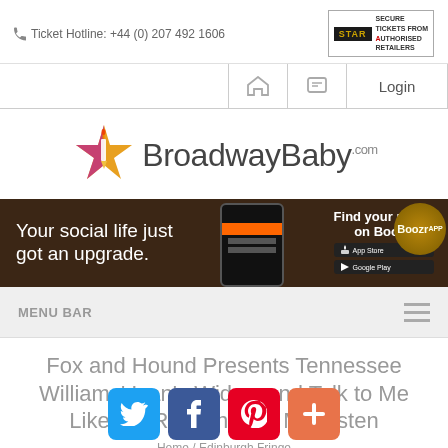Ticket Hotline: +44 (0) 207 492 1606
[Figure (logo): STAR Secure Tickets from Authorised Retailers badge]
[Figure (logo): BroadwayBaby.com logo with star graphic]
[Figure (screenshot): Boozr app advertisement: Your social life just got an upgrade. Find your mates on Boozr. App Store and Google Play buttons.]
MENU BAR
Fox and Hound Presents Tennessee Williams' Ivan's Widow and Talk to Me Like the Rain and Let Me Listen
Home / Edinburgh Fringe